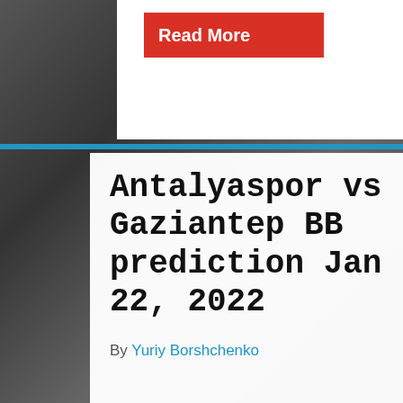[Figure (photo): Black and white background photo of American football players on a field]
Read More
Antalyaspor vs Gaziantep BB prediction Jan 22, 2022
By Yuriy Borshchenko